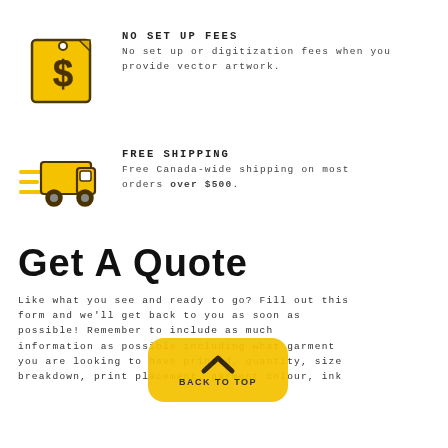[Figure (illustration): Yellow dollar sign tag/label icon with a hand-drawn style border]
NO SET UP FEES
No set up or digitization fees when you provide vector artwork.
[Figure (illustration): Yellow delivery truck icon with speed lines, hand-drawn style]
FREE SHIPPING
Free Canada-wide shipping on most orders over $500.
Get A Quote
Like what you see and ready to go? Fill out this form and we'll get back to you as soon as possible! Remember to include as much information as possible including what garment you are looking to have printed, quantity, size breakdown, print placement, garment colour, ink
[Figure (illustration): Yellow rounded rectangle Back to Top button with upward chevron arrow and text BACK TO TOP]